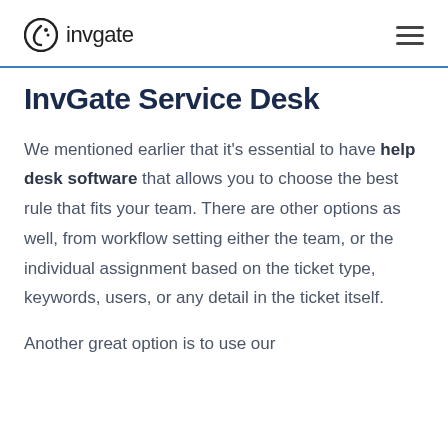invgate
InvGate Service Desk
We mentioned earlier that it’s essential to have help desk software that allows you to choose the best rule that fits your team. There are other options as well, from workflow setting either the team, or the individual assignment based on the ticket type, keywords, users, or any detail in the ticket itself.
Another great option is to use our